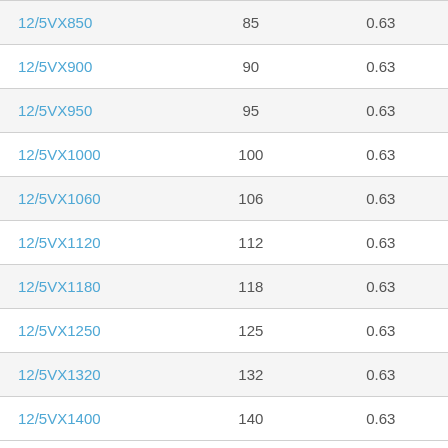| 12/5VX850 | 85 | 0.63 |
| 12/5VX900 | 90 | 0.63 |
| 12/5VX950 | 95 | 0.63 |
| 12/5VX1000 | 100 | 0.63 |
| 12/5VX1060 | 106 | 0.63 |
| 12/5VX1120 | 112 | 0.63 |
| 12/5VX1180 | 118 | 0.63 |
| 12/5VX1250 | 125 | 0.63 |
| 12/5VX1320 | 132 | 0.63 |
| 12/5VX1400 | 140 | 0.63 |